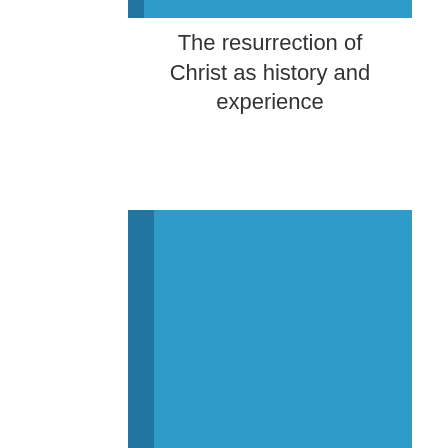[Figure (illustration): Blue horizontal bar at top of page, with a darker blue stripe on the left side]
The resurrection of Christ as history and experience
[Figure (illustration): A book cover shown at an angle in the lower half of the page — the cover is light blue and the spine is darker blue]